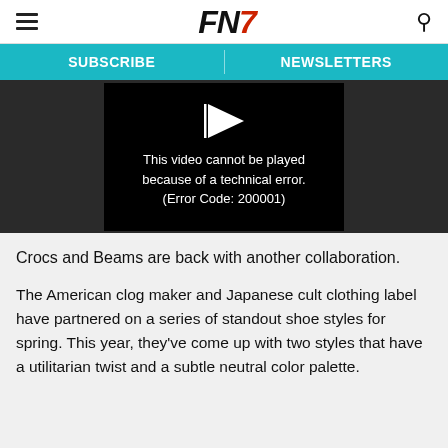FN7 — Footwear News logo with hamburger menu and search icon
SUBSCRIBE | NEWSLETTERS
[Figure (screenshot): Video player showing error message: 'This video cannot be played because of a technical error. (Error Code: 200001)']
Crocs and Beams are back with another collaboration.
The American clog maker and Japanese cult clothing label have partnered on a series of standout shoe styles for spring. This year, they've come up with two styles that have a utilitarian twist and a subtle neutral color palette.